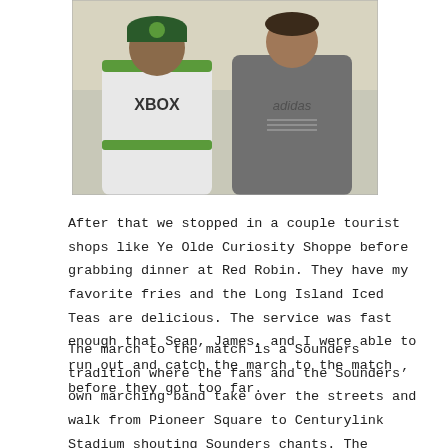[Figure (photo): Photo of two people, one wearing a white Seattle Sounders XBOX jersey and one wearing a grey Adidas shirt, sitting together outdoors.]
After that we stopped in a couple tourist shops like Ye Olde Curiosity Shoppe before grabbing dinner at Red Robin. They have my favorite fries and the Long Island Iced Teas are delicious. The service was fast enough that Sean, James, and I were able to run out and catch the march to the match before they got too far.
The march to the match is a Sounders tradition where the fans and the Sounders' own marching band take over the streets and walk from Pioneer Square to Centurylink Stadium shouting Sounders chants. The Sounders have been doing terribly this season so the crowd wasn't as dense as